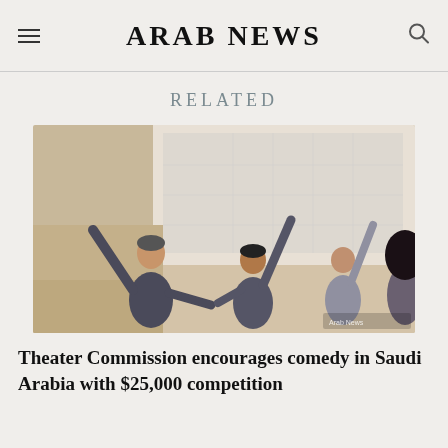ARAB NEWS
RELATED
[Figure (photo): People in a workshop or theater rehearsal setting, raising their arms. A trainer or director guides participants in an expressive movement exercise.]
Theater Commission encourages comedy in Saudi Arabia with $25,000 competition